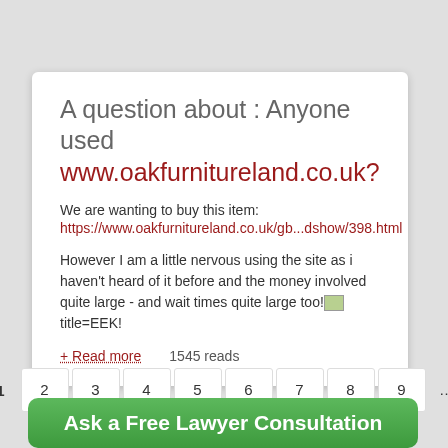A question about : Anyone used www.oakfurnitureland.co.uk?
We are wanting to buy this item:
https://www.oakfurnitureland.co.uk/gb...dshow/398.html
However I am a little nervous using the site as i haven't heard of it before and the money involved quite large - and wait times quite large too! title=EEK!
+ Read more    1545 reads
1  2  3  4  5  6  7  8  9  ...  next ›  last »
Ask a Free Lawyer Consultation